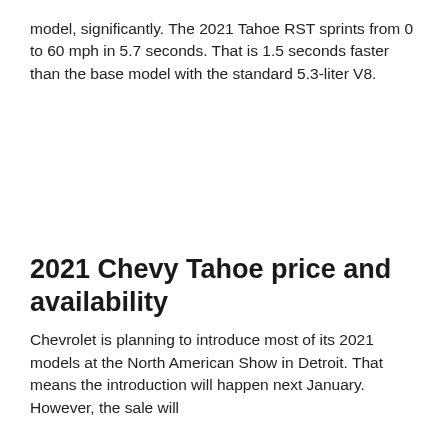model, significantly. The 2021 Tahoe RST sprints from 0 to 60 mph in 5.7 seconds. That is 1.5 seconds faster than the base model with the standard 5.3-liter V8.
2021 Chevy Tahoe price and availability
Chevrolet is planning to introduce most of its 2021 models at the North American Show in Detroit. That means the introduction will happen next January. However, the sale will